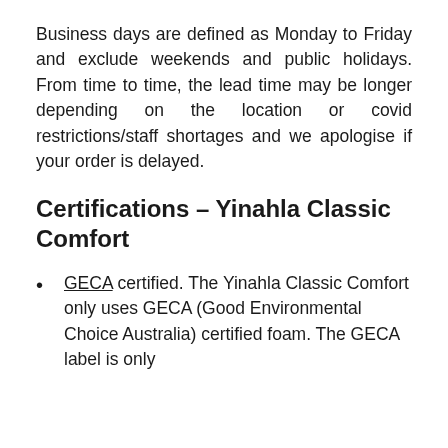Business days are defined as Monday to Friday and exclude weekends and public holidays. From time to time, the lead time may be longer depending on the location or covid restrictions/staff shortages and we apologise if your order is delayed.
Certifications – Yinahla Classic Comfort
GECA certified. The Yinahla Classic Comfort only uses GECA (Good Environmental Choice Australia) certified foam. The GECA label is only